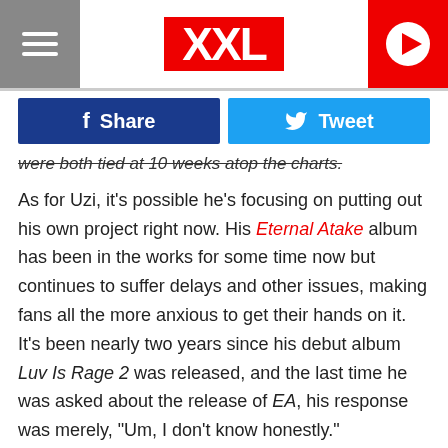XXL
were both tied at 10 weeks atop the charts.
As for Uzi, it's possible he's focusing on putting out his own project right now. His Eternal Atake album has been in the works for some time now but continues to suffer delays and other issues, making fans all the more anxious to get their hands on it. It's been nearly two years since his debut album Luv Is Rage 2 was released, and the last time he was asked about the release of EA, his response was merely, "Um, I don't know honestly."
Here's to hoping we get Uzi's new LP soon. Also, best of luck to Lil Nas X in getting that feature he wants for his "Panini"